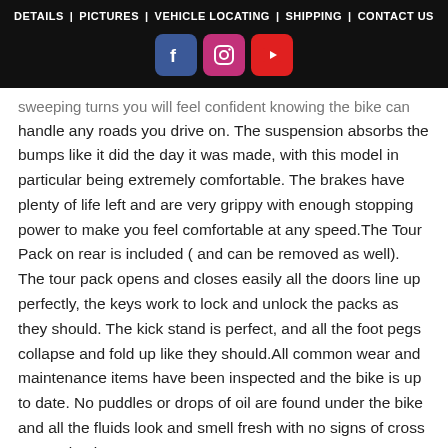DETAILS | PICTURES | VEHICLE LOCATING | SHIPPING | CONTACT US
[Figure (other): Social media buttons: Facebook (blue), Instagram (pink/magenta), YouTube (red)]
sweeping turns you will feel confident knowing the bike can handle any roads you drive on. The suspension absorbs the bumps like it did the day it was made, with this model in particular being extremely comfortable. The brakes have plenty of life left and are very grippy with enough stopping power to make you feel comfortable at any speed.The Tour Pack on rear is included ( and can be removed as well). The tour pack opens and closes easily all the doors line up perfectly, the keys work to lock and unlock the packs as they should. The kick stand is perfect, and all the foot pegs collapse and fold up like they should.All common wear and maintenance items have been inspected and the bike is up to date. No puddles or drops of oil are found under the bike and all the fluids look and smell fresh with no signs of cross contamination.